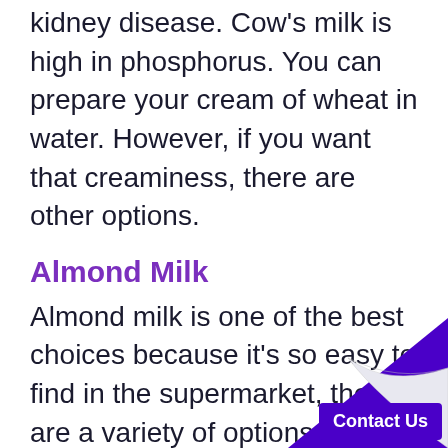kidney disease. Cow's milk is high in phosphorus. You can prepare your cream of wheat in water. However, if you want that creaminess, there are other options.
Almond Milk
Almond milk is one of the best choices because it's so easy to find in the supermarket, there are a variety of options, and low in phosphorus. For exa